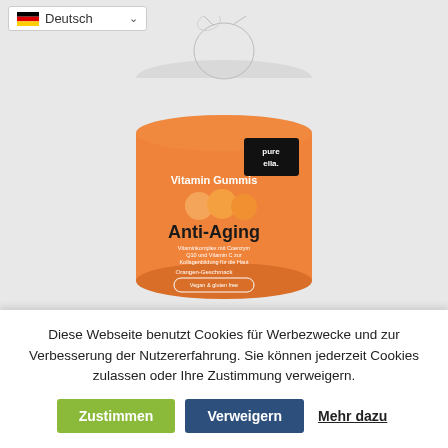[Figure (photo): Orange cylindrical product container of 'pure ella.' Vitamin Gummis Anti-Aging supplement with orange gummies shown on label, orange flavor, vegan & gluten free. Language selector dropdown showing German flag and 'Deutsch' in top left corner.]
Diese Webseite benutzt Cookies für Werbezwecke und zur Verbesserung der Nutzererfahrung. Sie können jederzeit Cookies zulassen oder Ihre Zustimmung verweigern.
Zustimmen
Verweigern
Mehr dazu